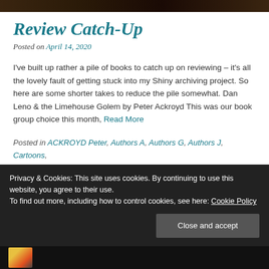[Figure (photo): Dark banner image at the top of the page, showing a dimly lit scene]
Review Catch-Up
Posted on April 14, 2020
I've built up rather a pile of books to catch up on reviewing – it's all the lovely fault of getting stuck into my Shiny archiving project. So here are some shorter takes to reduce the pile somewhat. Dan Leno & the Limehouse Golem by Peter Ackroyd This was our book group choice this month, Read More
Posted in ACKROYD Peter, Authors A, Authors G, Authors J, Cartoons, GAULD Tom, JOHNSON Denis, Poetry, Title begins with D   Tagged Cartoons, Murder, Music Hall, Poetry, Victorian London
Privacy & Cookies: This site uses cookies. By continuing to use this website, you agree to their use. To find out more, including how to control cookies, see here: Cookie Policy
[Figure (photo): Dark bottom strip with colorful book cover image on the left]